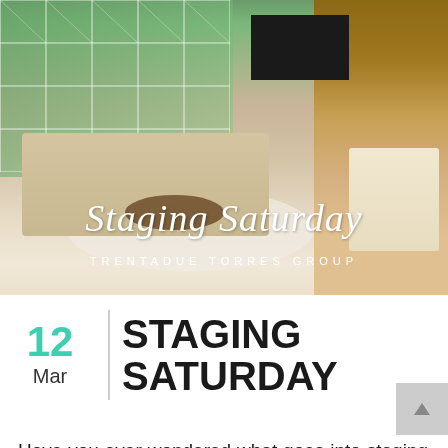[Figure (photo): Staged living room interior with large windows showing green trees, modern sofa, coffee table, fireplace, wall-mounted TV, wooden shelving unit, and a cozy armchair. Overlaid script text reads 'Staging Saturday' and 'TRENTADUE TORRES GROUP'.]
STAGING SATURDAY
Have you ever wondered what goes into staging a property? Short answer: a lot! But in the end, it's the finishing touches that give